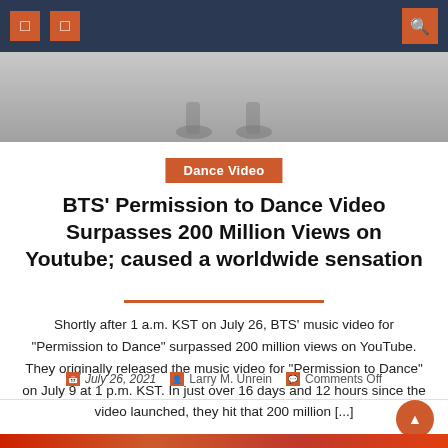Navigation bar with icons
[Figure (photo): Hero image showing feet/shoes of dancers against a light background]
Dance Video
BTS' Permission to Dance Video Surpasses 200 Million Views on Youtube; caused a worldwide sensation
Shortly after 1 a.m. KST on July 26, BTS' music video for "Permission to Dance" surpassed 200 million views on YouTube. They originally released the music video for "Permission to Dance" on July 9 at 1 p.m. KST. In just over 16 days and 12 hours since the video launched, they hit that 200 million [...]
July 26, 2021  Larry M. Unrein  Comments Off